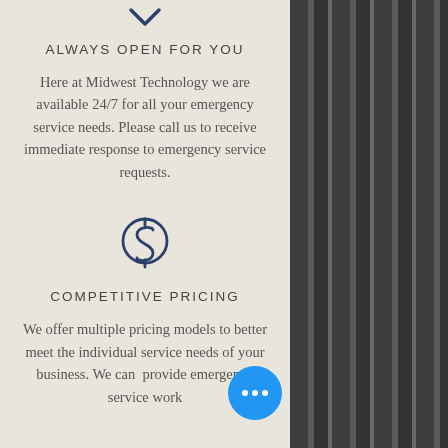[Figure (illustration): Down-pointing chevron/arrow icon in dark navy blue]
ALWAYS OPEN FOR YOU
Here at Midwest Technology we are available 24/7 for all your emergency service needs. Please call us to receive immediate response to emergency service requests.
[Figure (illustration): Dollar sign icon in dark navy blue outline style]
COMPETITIVE PRICING
We offer multiple pricing models to better meet the individual service needs of your business. We can provide emergency service work
[Figure (photo): Black and white photo of industrial machinery/rollers on the right side of the page]
[Figure (illustration): Blue circular chat button with three white dots (ellipsis)]